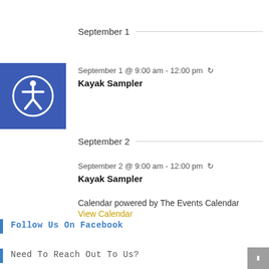September 1
September 1 @ 9:00 am - 12:00 pm ↺
Kayak Sampler
[Figure (logo): Blue accessibility icon with person figure in circle]
September 2
September 2 @ 9:00 am - 12:00 pm ↺
Kayak Sampler
Calendar powered by The Events Calendar
View Calendar
Follow Us On Facebook
Need To Reach Out To Us?